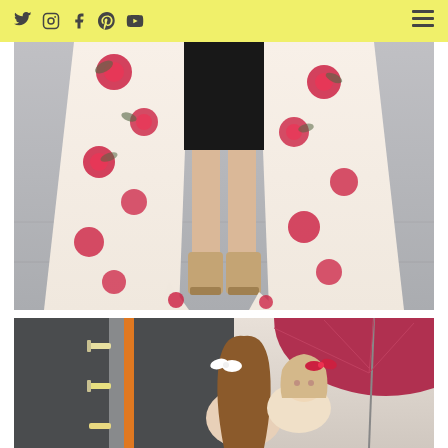Social media icons: Twitter, Instagram, Facebook, Pinterest, YouTube; hamburger menu
[Figure (photo): Close-up photo from waist down of a person wearing a white floral kimono with red roses over a black skirt and nude wedge sandals, standing on a gray sidewalk]
[Figure (photo): Photo of a woman holding a toddler with a white bow in her hair; the toddler has a red bow; background shows building with string lights and a large red market umbrella]